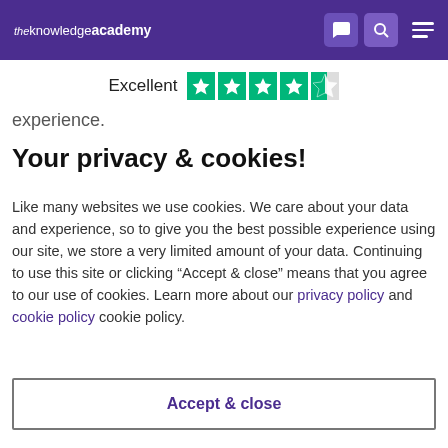[Figure (logo): The Knowledge Academy logo in white text on purple navbar background]
Excellent
[Figure (other): Trustpilot 4.5 star rating with green stars]
experience.
Your privacy & cookies!
Like many websites we use cookies. We care about your data and experience, so to give you the best possible experience using our site, we store a very limited amount of your data. Continuing to use this site or clicking “Accept & close” means that you agree to our use of cookies. Learn more about our privacy policy and cookie policy cookie policy.
Accept & close